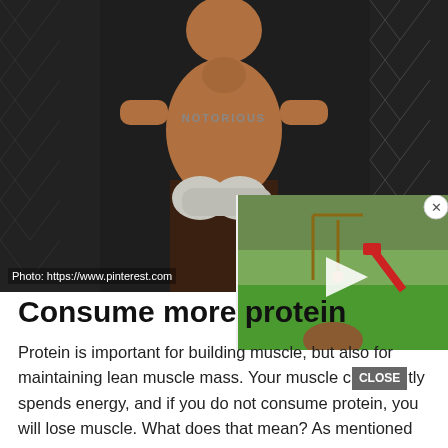[Figure (photo): Muscular tattooed man with boxing hand wraps leaning against a chain-link fence. Text on torso reads 'NOTORIOUS'. Photo credit: https://www.pinterest.com]
[Figure (screenshot): Ad overlay video thumbnail showing a backyard with playground equipment (slide, swing). Has a white play button triangle and a close X button.]
Consume more protein
Protein is important for building muscle, but also for maintaining lean muscle mass. Your muscle constantly spends energy, and if you do not consume protein, you will lose muscle. What does that mean? As mentioned before, you need about 30% of your daily calories to come from